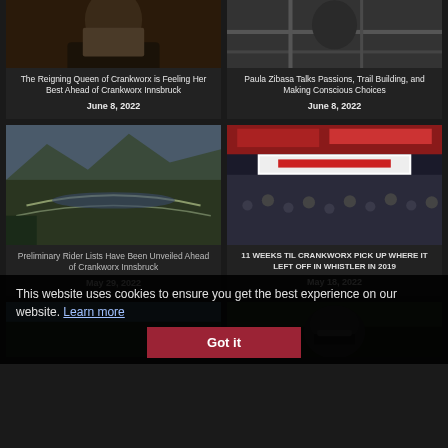[Figure (photo): Top-left article: photo of a person in dark clothing]
The Reigning Queen of Crankworx is Feeling Her Best Ahead of Crankworx Innsbruck
June 8, 2022
[Figure (photo): Top-right article: black and white outdoor/trail photo]
Paula Zibasa Talks Passions, Trail Building, and Making Conscious Choices
June 8, 2022
[Figure (photo): Mid-left: aerial view of mountain bike track with mountains in background]
Preliminary Rider Lists Have Been Unveiled Ahead of Crankworx Innsbruck
May 29, 2022
[Figure (photo): Mid-right: large crowd at Crankworx event with red banners]
11 WEEKS TIL CRANKWORX PICK UP WHERE IT LEFT OFF IN WHISTLER IN 2019
May 18, 2022
This website uses cookies to ensure you get the best experience on our website. Learn more
Got it
[Figure (photo): Bottom-left: partial photo of forest/trail scene]
[Figure (photo): Bottom-right: partial photo of a rider with helmet]